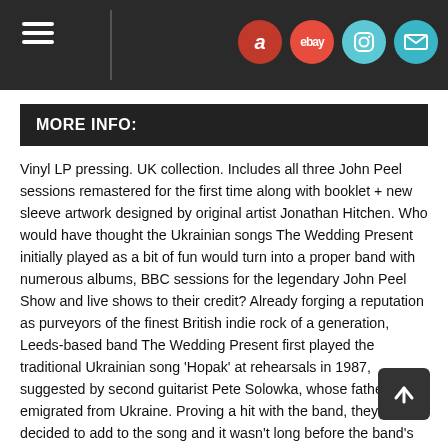Navigation header with hamburger menu and icons for Amazon, eBay, Instagram, and email
MORE INFO:
Vinyl LP pressing. UK collection. Includes all three John Peel sessions remastered for the first time along with booklet + new sleeve artwork designed by original artist Jonathan Hitchen. Who would have thought the Ukrainian songs The Wedding Present initially played as a bit of fun would turn into a proper band with numerous albums, BBC sessions for the legendary John Peel Show and live shows to their credit? Already forging a reputation as purveyors of the finest British indie rock of a generation, Leeds-based band The Wedding Present first played the traditional Ukrainian song 'Hopak' at rehearsals in 1987, suggested by second guitarist Pete Solowka, whose father had emigrated from Ukraine. Proving a hit with the band, they soon decided to add to the song and it wasn't long before the band's next John Peel session for his popular BBC radio show had a distinct Ukrainian feel to it! Drafting in singer/violinist Len Liggins, a friend of Solowka's and a student of Slavonic languages, the session was a surprising hit, and Peel would go on to air the session several times over. In fact, that first session is still being played today, most recently by Gideon Coe on BBC Radio 6 Music.